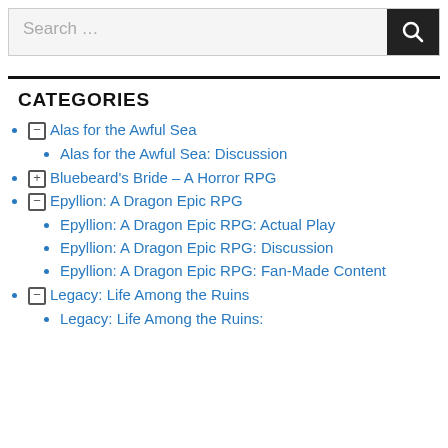[Figure (screenshot): Search bar input field with magnifying glass icon button on dark background]
CATEGORIES
⊖ Alas for the Awful Sea
Alas for the Awful Sea: Discussion
⊕ Bluebeard's Bride – A Horror RPG
⊖ Epyllion: A Dragon Epic RPG
Epyllion: A Dragon Epic RPG: Actual Play
Epyllion: A Dragon Epic RPG: Discussion
Epyllion: A Dragon Epic RPG: Fan-Made Content
⊖ Legacy: Life Among the Ruins
Legacy: Life Among the Ruins: